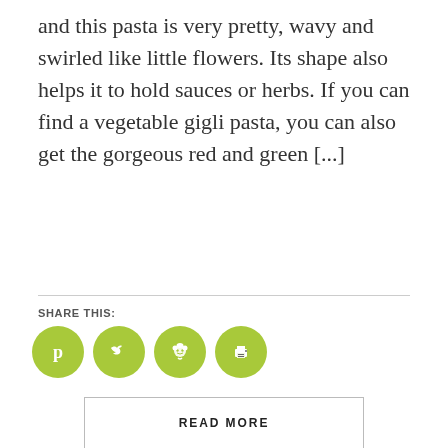and this pasta is very pretty, wavy and swirled like little flowers. Its shape also helps it to hold sauces or herbs. If you can find a vegetable gigli pasta, you can also get the gorgeous red and green [...]
SHARE THIS:
[Figure (infographic): Four green circular social sharing buttons: Pinterest (p), Twitter (bird), Reddit (alien), Print (printer icon)]
READ MORE
[Figure (photo): A bowl of green olives on a white plate, blurred background with beige tiles]